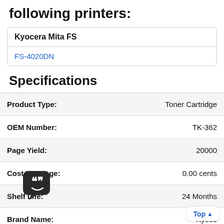following printers:
| Kyocera Mita FS |  |
| FS-4020DN |  |
Specifications
| Label | Value |
| --- | --- |
| Product Type: | Toner Cartridge |
| OEM Number: | TK-362 |
| Page Yield: | 20000 |
| Cost Per Page: | 0.00 cents |
| Shelf Life: | 24 Months |
| Brand Name: | Kyoce... |